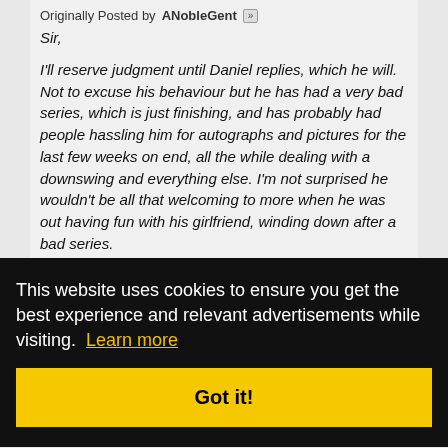Originally Posted by ANobleGent [»]
Sir,

I'll reserve judgment until Daniel replies, which he will. Not to excuse his behaviour but he has had a very bad series, which is just finishing, and has probably had people hassling him for autographs and pictures for the last few weeks on end, all the while dealing with a downswing and everything else. I'm not surprised he wouldn't be all that welcoming to more when he was out having fun with his girlfriend, winding down after a bad series.
...en a
...if the self
[Figure (screenshot): Cookie consent overlay. Black background with white text: 'This website uses cookies to ensure you get the best experience and relevant advertisements while visiting.' with a 'Learn more' yellow link, and a yellow 'Got it!' button.]
certainly,
ANobleGent